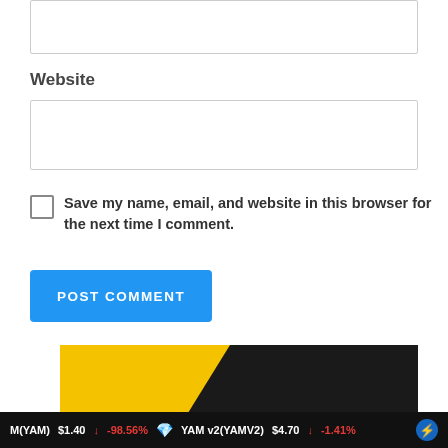Website
Save my name, email, and website in this browser for the next time I comment.
POST COMMENT
[Figure (infographic): Smart & Responsive ADVERTISEMENT banner with dark background, yellow diagonal accents, gold sparkles, and a LEARN MORE button]
M(YAM) $1.40 ↓ -98.56%   YAM v2(YAMV2) $4.70 ↓ -1.41%